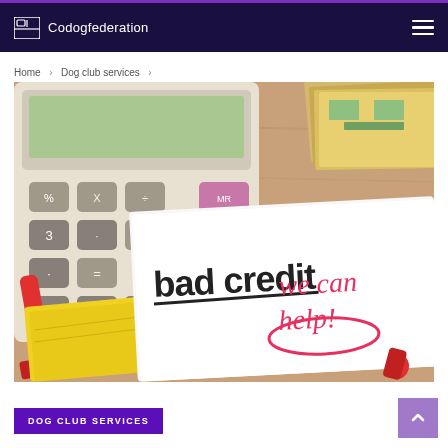Codogfederation
Home > Dog club services >
[Figure (photo): A photo showing a calculator and cash money in the background, with a white paper in the foreground printed with 'bad credit' in bold black text and 'we can help!' handwritten in red/pink marker. A yellow notebook and red marker are also visible on a wooden desk surface.]
DOG CLUB SERVICES